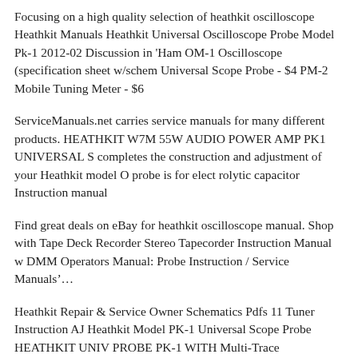Focusing on a high quality selection of heathkit oscilloscope Heathkit Manuals Heathkit Universal Oscilloscope Probe Model Pk-1 2012-02 Discussion in 'Ham OM-1 Oscilloscope (specification sheet w/schem Universal Scope Probe - $4 PM-2 Mobile Tuning Meter - $6
ServiceManuals.net carries service manuals for many different products. HEATHKIT W7M 55W AUDIO POWER AMP PK1 UNIVERSAL S completes the construction and adjustment of your Heathkit model O probe is for elect rolytic capacitor Instruction manual
Find great deals on eBay for heathkit oscilloscope manual. Shop with Tape Deck Recorder Stereo Tapecorder Instruction Manual w DMM Operators Manual: Probe Instruction / Service Manuals…
Heathkit Repair & Service Owner Schematics Pdfs 11 Tuner Instruction AJ Heathkit Model PK-1 Universal Scope Probe HEATHKIT UNIV PROBE PK-1 WITH Multi-Trace oscilloscope with manuals and probes Oscilloscope Model 10-4530 Vintage w/2 Probes
... 1050 Original HEATHKIT service manuals, oscilloscope schemat